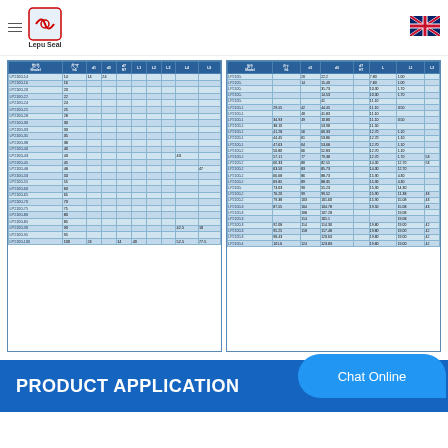Lepu Seal
| 型号 Model | 尺寸 Size h6 | d1 | d3 | d7 H7 | L1 | L2 | L3 | L4 | L5 |
| --- | --- | --- | --- | --- | --- | --- | --- | --- | --- |
| LP2100-14 | 14 | 14 | 24 |  |  |  |  |  |  |
| LP2100-16 |  |  |  |  |  |  |  |  |  |
| LP2100-20 |  |  |  |  |  |  |  |  |  |
| LP2100-22 |  |  |  |  |  |  |  |  |  |
| LP2100-24 |  |  |  |  |  |  |  |  |  |
| LP2100-25 |  |  |  |  |  |  |  |  |  |
| LP2100-28 |  |  |  |  |  |  |  |  |  |
| LP2100-30 |  |  |  |  |  |  |  |  |  |
| LP2100-33 |  |  |  |  |  |  |  |  |  |
| LP2100-35 |  |  |  |  |  |  |  |  |  |
| LP2100-38 |  |  |  |  |  |  |  |  |  |
| LP2100-40 |  |  |  |  |  |  |  |  |  |
| LP2100-43 |  |  |  |  |  |  |  |  |  |
| LP2100-45 |  |  |  |  |  |  |  |  |  |
| LP2100-48 |  |  |  |  |  |  |  |  |  |
| LP2100-50 |  |  |  |  |  |  |  |  |  |
| LP2100-55 |  |  |  |  |  |  |  |  |  |
| LP2100-60 |  |  |  |  |  |  |  |  |  |
| LP2100-65 |  |  |  |  |  |  |  |  |  |
| LP2100-70 |  |  |  |  |  |  |  |  |  |
| LP2100-75 |  |  |  |  |  |  |  |  |  |
| LP2100-80 |  |  |  |  |  |  |  |  |  |
| LP2100-85 |  |  |  |  |  |  |  |  |  |
| LP2100-90 |  |  |  |  |  |  |  |  |  |
| LP2100-95 |  |  |  |  |  |  |  |  |  |
| LP2100-100 |  |  |  |  |  |  |  |  |  |
| 型号 Model | 尺寸 Size h6 | d1 | d3 | d7 H7 | L | L1 | L3 |
| --- | --- | --- | --- | --- | --- | --- | --- |
| LP2100- |  | 20 | 22.2 |  | 7.80 | 1.00 |  |
| LP2100- |  | 14 | 15.40 |  | 7.80 | 1.00 |  |
| LP2100- |  |  | 31.73 |  | 10.30 | 1.70 |  |
| LP2100- |  |  | 14.53 |  | 10.30 | 1.70 |  |
| LP2100- |  |  | 41 |  | 11.10 |  |  |
| LP2100-1 | 29.55 | 42 | 44.45 |  | 11.10 | 3.50 |  |
| LP2100-1 |  | 40 | 41.83 |  | 11.10 |  |  |
| LP2100-1 | 34.93 | 49 | 10.80 |  | 11.10 | 3.50 |  |
| LP2100-1 | 38.10 |  | 53.98 |  | 11.50 |  |  |
| LP2100-1 | 41.28 | 56 | 60.33 |  | 12.70 | 1.10 |  |
| LP2100-1 | 44.45 | 61 | 53.86 |  | 12.70 | 1.10 |  |
| LP2100-1 | 47.63 | 64 | 53.68 |  | 12.70 | 1.10 |  |
| LP2100-2 | 50.80 | 66 | 52.83 |  | 12.70 | 1.10 |  |
| LP2100-2 |  | 57.11 | 77 | 79.38 | 12.70 | 1.70 | 53 |
| LP2100-2 | 60.33 | 80 | 82.55 |  | 14.30 | 12.70 | 53 |
| LP2100-2 | 63.50 | 83 | 85.73 |  | 14.30 | 12.70 |  |
| LP2100-2 | 66.68 | 86 | 88.73 |  | 15.90 | 4.30 |  |
| LP2100-2 | 69.85 | 89 | 88.35 |  | 15.90 | 4.30 |  |
| LP2100- | 73.03 | 90 | 55.23 |  | 15.90 | 14.30 |  |
| LP2100-2 | 76.20 | 99 | 99.52 |  | 15.90 | 11.38 | 43 |
| LP2100-2 | 79.38 | 103 | 101.60 |  | 15.90 | 15.08 | 43 |
| LP2100-3 | 87.55 | 104 | 104.78 |  | 19.50 | 15.08 | 43 |
| LP2100-3 |  | 108 | 107.28 |  |  | 19.08 |  |
| LP2100-3 |  | 114 | 101.1 |  |  | 19.08 |  |
| LP2100-3 | 92.08 | 114 | 114.30 |  | 19.80 | 19.00 | 42 |
| LP2100-3 | 95.25 | 118 | 117.48 |  | 19.80 | 19.00 | 42 |
| LP2100-3 | 98.43 |  | 120.63 |  | 19.80 | 19.00 | 42 |
| LP2100-4 | 101.6 | 124 | 123.83 |  | 19.80 | 19.00 | 42 |
PRODUCT APPLICATION
Chat Online